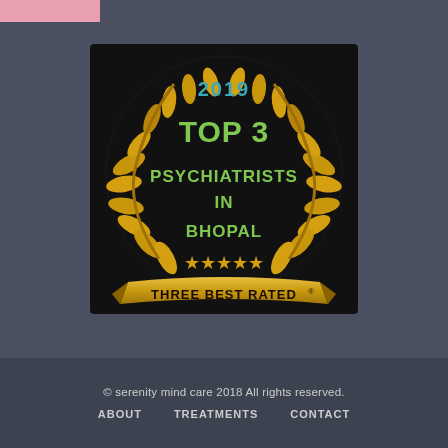[Figure (logo): Top 3 Psychiatrists in Bhopal 2019 - Three Best Rated badge with gold laurel wreath on black background, five gold stars, and gold ribbon banner]
© serenity mind care 2018 All rights reserved. ABOUT   TREATMENTS   CONTACT